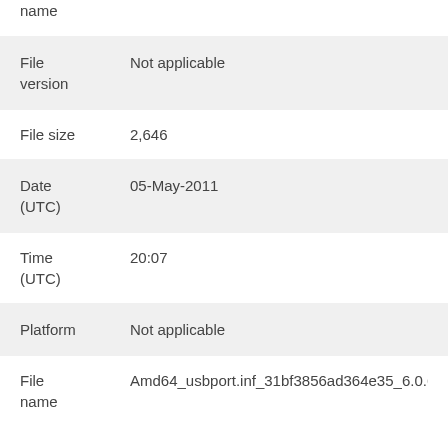| Field | Value |
| --- | --- |
| name | — |
| File version | Not applicable |
| File size | 2,646 |
| Date (UTC) | 05-May-2011 |
| Time (UTC) | 20:07 |
| Platform | Not applicable |
| File name | Amd64_usbport.inf_31bf3856ad364e35_6.0.6002.1846 |